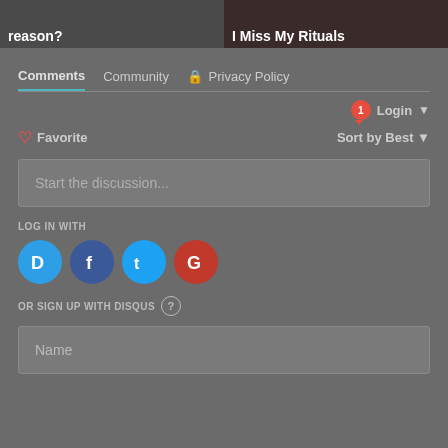[Figure (screenshot): Two thumbnail images side by side: left shows text 'reason?' on dark background, right shows text 'I Miss My Rituals' on dark red background]
Comments | Community | Privacy Policy
Login
Favorite   Sort by Best
Start the discussion...
LOG IN WITH
[Figure (logo): Social login icons: Disqus (blue), Facebook (dark blue), Twitter (light blue), Google (red)]
OR SIGN UP WITH DISQUS ?
Name